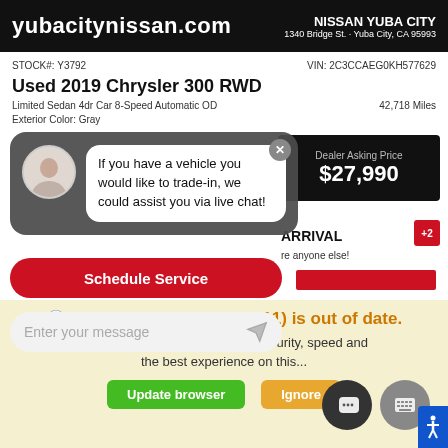yubacitynissan.com | NISSAN YUBA CITY | 1340 Bridge St. · Yuba City, CA 95993
STOCK#: Y3792    VIN: 2C3CCAEG0KH577629
Used 2019 Chrysler 300 RWD
Limited Sedan 4dr Car 8-Speed Automatic OD    42,718 Miles
Exterior Color: Gray
Dealer Asking Price
$27,990
[Figure (screenshot): Chatbot overlay with avatar and message: If you have a vehicle you would like to trade-in, we could assist you via live chat!]
Schedule Service
Enter your message
ARRIVAL
...before anyone else!
website and our service.
Your web browser (iOS 11) is out of date.
Update your browser for more security, speed and the best experience on this...
Update browser    Ignore